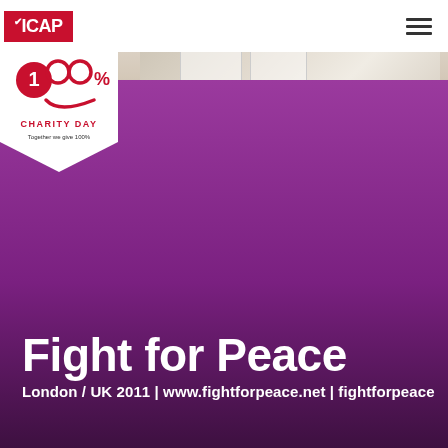[Figure (logo): ICAP logo — white text on red background with checkmark symbol]
[Figure (logo): ICAP Charity Day badge — 100% smiley face logo with text 'CHARITY DAY Together we give 100%' on white pennant]
[Figure (photo): Background photo of an indoor office/gym space, partially visible behind purple overlay]
Fight for Peace
London / UK 2011 | www.fightforpeace.net | fightforpeace